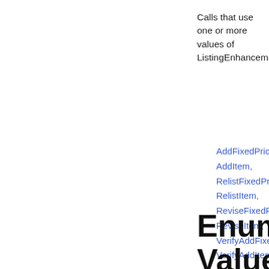Calls that use one or more values of ListingEnhancement
AddFixedPriceI
AddItem,
RelistFixedPrice
RelistItem,
ReviseFixedPri
ReviseItem,
VerifyAddFixed
VerifyAddItem
Enumerated Values